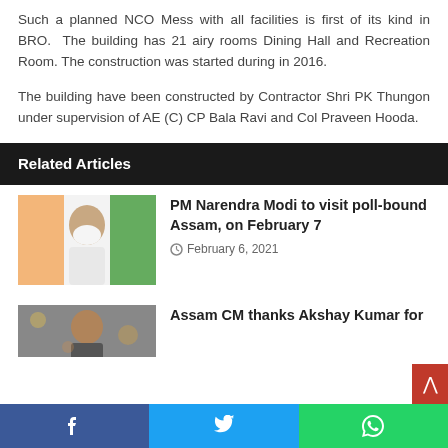Such a planned NCO Mess with all facilities is first of its kind in BRO. The building has 21 airy rooms Dining Hall and Recreation Room. The construction was started during in 2016.
The building have been constructed by Contractor Shri PK Thungon under supervision of AE (C) CP Bala Ravi and Col Praveen Hooda.
Related Articles
[Figure (photo): Photo of PM Narendra Modi gesturing, with Indian flag in background]
PM Narendra Modi to visit poll-bound Assam, on February 7
February 6, 2021
[Figure (photo): Photo related to Assam CM article]
Assam CM thanks Akshay Kumar for
Facebook  Twitter  WhatsApp